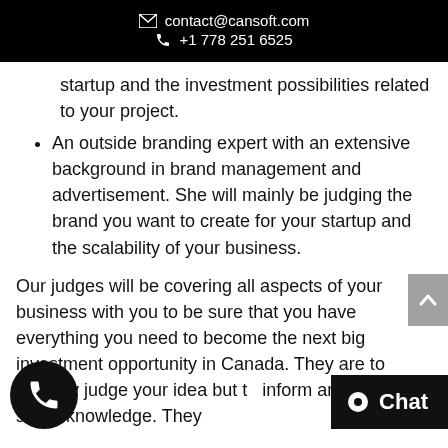✉ contact@cansoft.com  ☎ +1 778 251 6525
startup and the investment possibilities related to your project.
An outside branding expert with an extensive background in brand management and advertisement. She will mainly be judging the brand you want to create for your startup and the scalability of your business.
Our judges will be covering all aspects of your business with you to be sure that you have everything you need to become the next big investment opportunity in Canada. They are to not only judge your idea but to inform and share knowledge. They